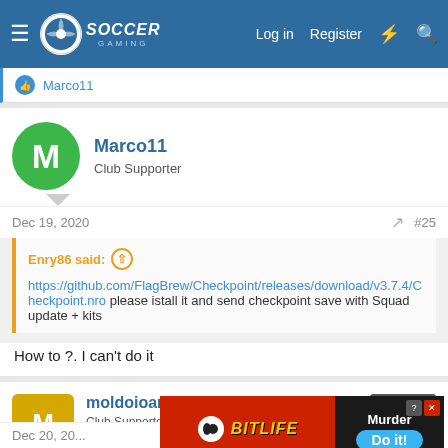Soccer Gaming — Log in | Register
Marco11
Marco11
Club Supporter
Dec 19, 2020  #25
Enry86 said: ↑
https://github.com/FlagBrew/Checkpoint/releases/download/v3.7.4/Checkpoint.nro please istall it and send checkpoint save with Squad update + kits
How to ?. I can't do it
moldoioan
Club Supporter
[Figure (screenshot): BitLife advertisement banner with red background, yellow BitLife logo, Murder Do it! text]